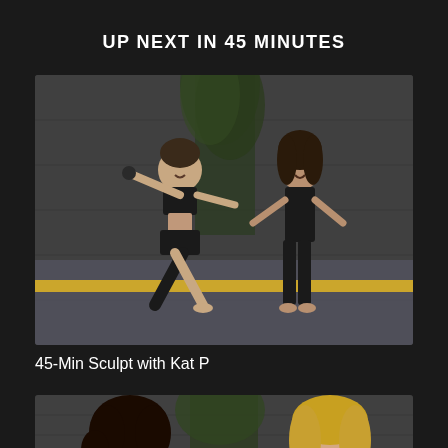UP NEXT IN 45 MINUTES
[Figure (photo): Two women doing a fitness/sculpt workout in a studio with yoga mats, bamboo plant in background, ambient warm strip lighting along the bottom of the wall. Left woman in black sports bra and shorts doing a lunge with weights. Right woman in black athletic wear standing with arms out.]
45-Min Sculpt with Kat P
[Figure (photo): Partial view of two women in a fitness studio setting with bamboo plant in background. Left: woman with curly dark hair. Right: woman with long blonde hair, smiling.]